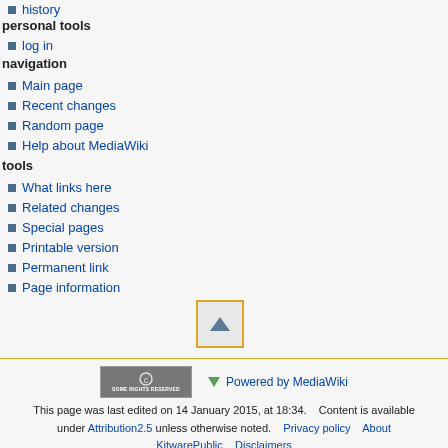history
personal tools
log in
navigation
Main page
Recent changes
Random page
Help about MediaWiki
tools
What links here
Related changes
Special pages
Printable version
Permanent link
Page information
[Figure (other): Scroll to top button with upward triangle arrow]
This page was last edited on 14 January 2015, at 18:34.    Content is available under Attribution2.5 unless otherwise noted.    Privacy policy    About KitwarePublic    Disclaimers